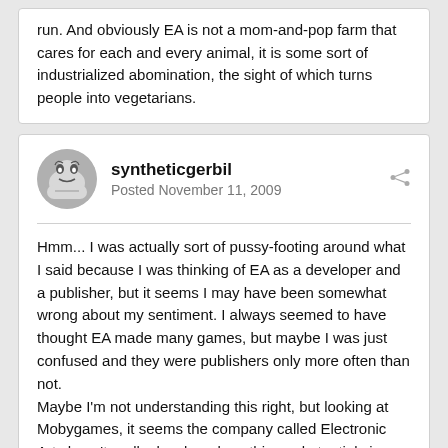run. And obviously EA is not a mom-and-pop farm that cares for each and every animal, it is some sort of industrialized abomination, the sight of which turns people into vegetarians.
syntheticgerbil
Posted November 11, 2009
Hmm... I was actually sort of pussy-footing around what I said because I was thinking of EA as a developer and a publisher, but it seems I may have been somewhat wrong about my sentiment. I always seemed to have thought EA made many games, but maybe I was just confused and they were publishers only more often than not.
Maybe I'm not understanding this right, but looking at Mobygames, it seems the company called Electronic Arts hasn't really developed anything substantial since the mid 90s and earlier. Maybe they've been only involved in the wheeling and dealing of the publishing world since then (or more)?
If these 1,500 people are 17 percent of EA's workforce and not actively developing anything, only publishing, keeping track of money, and marketing, then I think they'll be alright. There's always many things to